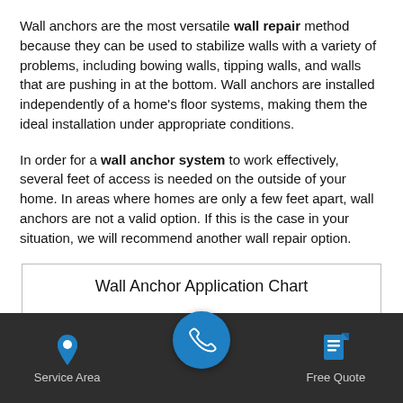Wall anchors are the most versatile wall repair method because they can be used to stabilize walls with a variety of problems, including bowing walls, tipping walls, and walls that are pushing in at the bottom. Wall anchors are installed independently of a home's floor systems, making them the ideal installation under appropriate conditions.
In order for a wall anchor system to work effectively, several feet of access is needed on the outside of your home. In areas where homes are only a few feet apart, wall anchors are not a valid option. If this is the case in your situation, we will recommend another wall repair option.
Wall Anchor Application Chart
Geo-Lock™ Wall Anchors
Service Area | [phone] | Free Quote